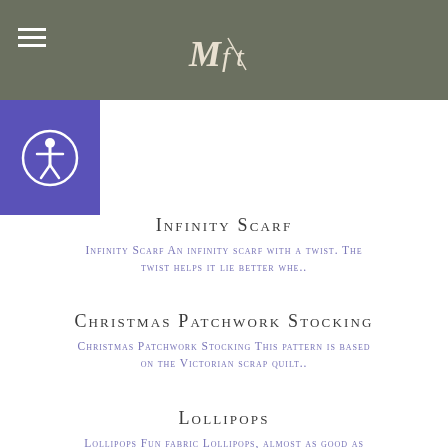Mft logo with hamburger menu
[Figure (logo): Accessibility icon button, blue square with person-in-circle icon]
Infinity Scarf
Infinity Scarf An infinity scarf with a twist. The twist helps it lie better whe..
Christmas Patchwork Stocking
Christmas Patchwork Stocking This pattern is based on the Victorian scrap quilt..
Lollipops
Lollipops Fun fabric Lollipops, almost as good as the real thing. Though people..